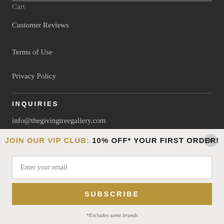Cart
Customer Reviews
Terms of Use
Privacy Policy
INQUIRIES
info@thegivingtreegallery.com
Customer Service Hours:
JOIN OUR VIP CLUB: 10% OFF* YOUR FIRST ORDER!
Enter your email
SUBSCRIBE
*Excludes some brands